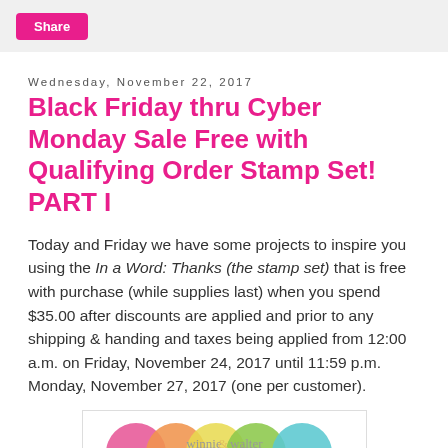Share
Wednesday, November 22, 2017
Black Friday thru Cyber Monday Sale Free with Qualifying Order Stamp Set! PART I
Today and Friday we have some projects to inspire you using the In a Word: Thanks (the stamp set) that is free with purchase (while supplies last) when you spend $35.00 after discounts are applied and prior to any shipping & handing and taxes being applied from 12:00 a.m. on Friday, November 24, 2017 until 11:59 p.m. Monday, November 27, 2017 (one per customer).
[Figure (logo): Winnie & Walter brand logo with colorful overlapping circles and text 'clear stamps' and 'made in the USA']